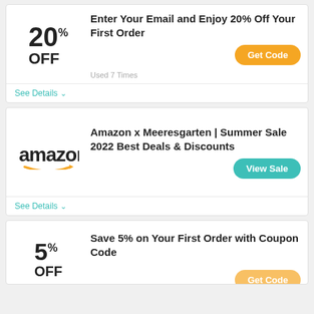20% OFF
Enter Your Email and Enjoy 20% Off Your First Order
Get Code
Used 7 Times
See Details ∨
[Figure (logo): Amazon logo with smile arrow]
Amazon x Meeresgarten | Summer Sale 2022 Best Deals & Discounts
View Sale
See Details ∨
5% OFF
Save 5% on Your First Order with Coupon Code